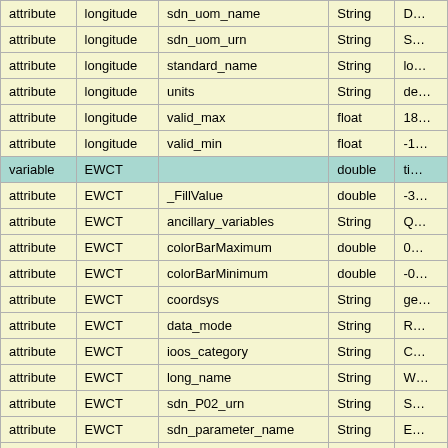| type | variable | attribute_name | dtype | value |
| --- | --- | --- | --- | --- |
| attribute | longitude | sdn_uom_name | String | D… |
| attribute | longitude | sdn_uom_urn | String | S… |
| attribute | longitude | standard_name | String | lo… |
| attribute | longitude | units | String | de… |
| attribute | longitude | valid_max | float | 18… |
| attribute | longitude | valid_min | float | -1… |
| variable | EWCT |  | double | ti… |
| attribute | EWCT | _FillValue | double | -3… |
| attribute | EWCT | ancillary_variables | String | Q… |
| attribute | EWCT | colorBarMaximum | double | 0… |
| attribute | EWCT | colorBarMinimum | double | -0… |
| attribute | EWCT | coordsys | String | ge… |
| attribute | EWCT | data_mode | String | R… |
| attribute | EWCT | ioos_category | String | C… |
| attribute | EWCT | long_name | String | W… |
| attribute | EWCT | sdn_P02_urn | String | S… |
| attribute | EWCT | sdn_parameter_name | String | E… |
| attribute | EWCT | sdn_parameter_urn | String | S… |
| attribute | EWCT | sdn_uom_name | String | M… |
| attribute | EWCT | sdn_uom_urn | String | S… |